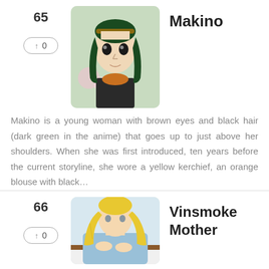65
↑ 0
[Figure (illustration): Anime character Makino - a young woman with dark green hair and brown eyes]
Makino
Makino is a young woman with brown eyes and black hair (dark green in the anime) that goes up to just above her shoulders. When she was first introduced, ten years before the current storyline, she wore a yellow kerchief, an orange blouse with black…
66
↑ 0
[Figure (illustration): Anime character Vinsmoke Mother - a woman with long blonde hair wearing a light blue outfit]
Vinsmoke Mother